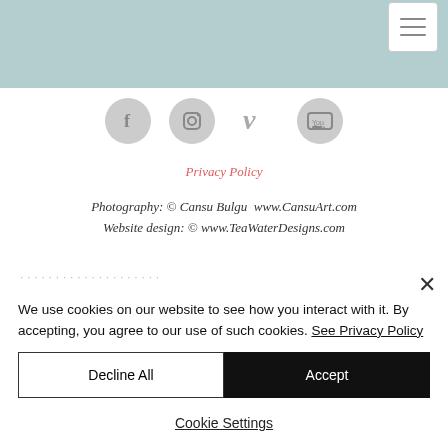[Figure (screenshot): Top header area with teal/mint background and hamburger menu button in top right corner]
[Figure (infographic): Row of four social media icons: Facebook, Instagram, Vimeo, YouTube — grey circular buttons]
Privacy Policy
Photography: © Cansu Bulgu  www.CansuArt.com
Website design: © www.TeaWaterDesigns.com
We use cookies on our website to see how you interact with it. By accepting, you agree to our use of such cookies. See Privacy Policy
Decline All
Accept
Cookie Settings